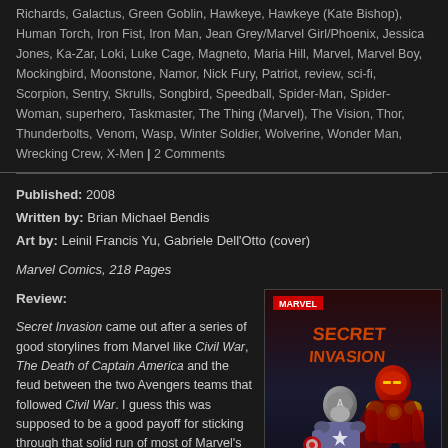Richards, Galactus, Green Goblin, Hawkeye, Hawkeye (Kate Bishop), Human Torch, Iron Fist, Iron Man, Jean Grey/Marvel Girl/Phoenix, Jessica Jones, Ka-Zar, Loki, Luke Cage, Magneto, Maria Hill, Marvel, Marvel Boy, Mockingbird, Moonstone, Namor, Nick Fury, Patriot, review, sci-fi, Scorpion, Sentry, Skrulls, Songbird, Speedball, Spider-Man, Spider-Woman, superhero, Taskmaster, The Thing (Marvel), The Vision, Thor, Thunderbolts, Venom, Wasp, Winter Soldier, Wolverine, Wonder Man, Wrecking Crew, X-Men | 2 Comments
Published: 2008
Written by: Brian Michael Bendis
Art by: Leinil Francis Yu, Gabriele Dell'Otto (cover)
Marvel Comics, 218 Pages
Review:
Secret Invasion came out after a series of good storylines from Marvel like Civil War, The Death of Captain America and the feud between the two Avengers teams that followed Civil War. I guess this was supposed to be a good payoff for sticking through that solid run of most of Marvel's major
[Figure (illustration): Cover of Marvel Comics 'Secret Invasion' showing Iron Man and Captain America in armor with red and gold colors, with the Marvel logo at top.]